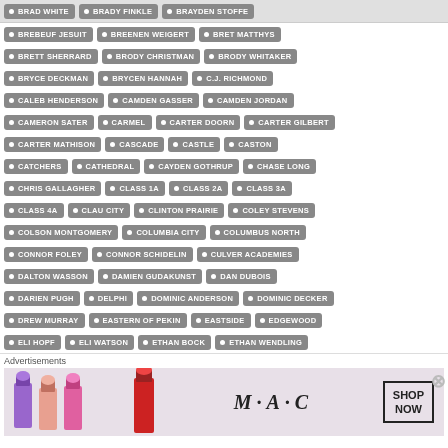BRAD WHITE • BRADY FINKLE • BRAYDEN STOFFE
BREBEUF JESUIT • BREENEN WEIGERT • BRET MATTHYS
BRETT SHERRARD • BRODY CHRISTMAN • BRODY WHITAKER
BRYCE DECKMAN • BRYCEN HANNAH • C.J. RICHMOND
CALEB HENDERSON • CAMDEN GASSER • CAMDEN JORDAN
CAMERON SATER • CARMEL • CARTER DOORN • CARTER GILBERT
CARTER MATHISON • CASCADE • CASTLE • CASTON
CATCHERS • CATHEDRAL • CAYDEN GOTHRUP • CHASE LONG
CHRIS GALLAGHER • CLASS 1A • CLASS 2A • CLASS 3A
CLASS 4A • CLAU CITY • CLINTON PRAIRIE • COLEY STEVENS
COLSON MONTGOMERY • COLUMBIA CITY • COLUMBUS NORTH
CONNOR FOLEY • CONNOR SCHIDELIN • CULVER ACADEMIES
DALTON WASSON • DAMIEN GUDAKUNST • DAN DUBOIS
DARIEN PUGH • DELPHI • DOMINIC ANDERSON • DOMINIC DECKER
DREW MURRAY • EASTERN OF PEKIN • EASTSIDE • EDGEWOOD
ELI HOPF • ELI WATSON • ETHAN BOCK • ETHAN WENDLING
[Figure (other): MAC Cosmetics advertisement banner with lipsticks and SHOP NOW button]